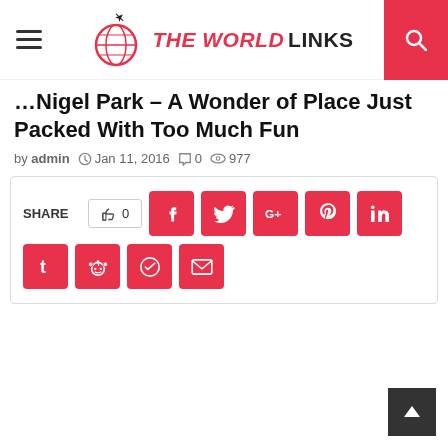THE WORLD LINKS
Nigel Park – A Wonder of Place Just Packed With Too Much Fun
by admin  Jan 11, 2016  0  977
[Figure (infographic): Social share buttons including Facebook, Twitter, Google+, Pinterest, LinkedIn, Tumblr, Reddit, Telegram, Email with a like count of 0]